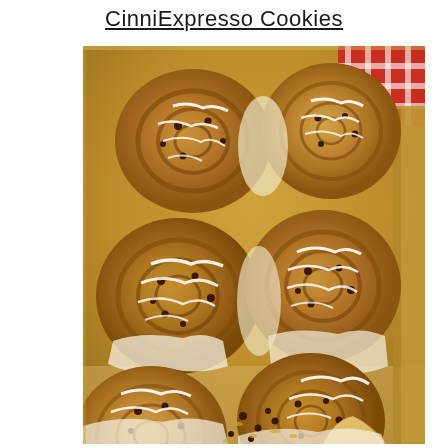CinniExpresso Cookies
[Figure (photo): A baking tray filled with glazed cinnamon rolls drizzled with white cream cheese icing, with chocolate chips and raisins visible. The rolls are golden brown and arranged in rows in a metal pan, with a red checkered cloth visible in the upper right corner.]